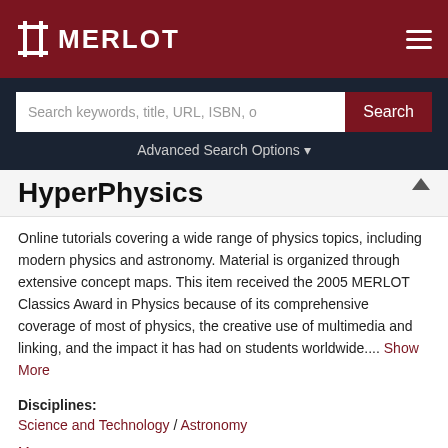MERLOT
[Figure (screenshot): MERLOT website search bar with input field and Search button on dark navy background, with Advanced Search Options link below]
HyperPhysics
Online tutorials covering a wide range of physics topics, including modern physics and astronomy. Material is organized through extensive concept maps. This item received the 2005 MERLOT Classics Award in Physics because of its comprehensive coverage of most of physics, the creative use of multimedia and linking, and the impact it has had on students worldwide.... Show More
Disciplines:
Science and Technology / Astronomy
More...
Go to Material